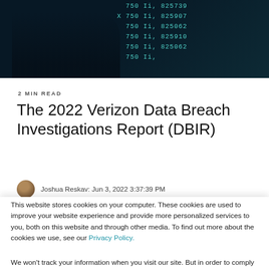[Figure (photo): Dark hacking-themed background image with green monospace code/numbers on dark teal/black background]
2 MIN READ
The 2022 Verizon Data Breach Investigations Report (DBIR)
Joshua Reskav: Jun 3, 2022 3:37:39 PM
This website stores cookies on your computer. These cookies are used to improve your website experience and provide more personalized services to you, both on this website and through other media. To find out more about the cookies we use, see our Privacy Policy.
We won't track your information when you visit our site. But in order to comply with your preferences, we'll have to use just one tiny cookie so that you're not asked to make this choice again.